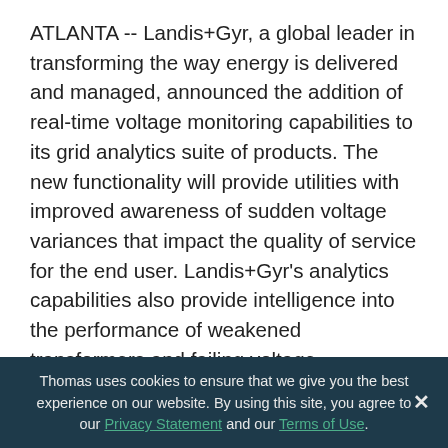ATLANTA -- Landis+Gyr, a global leader in transforming the way energy is delivered and managed, announced the addition of real-time voltage monitoring capabilities to its grid analytics suite of products. The new functionality will provide utilities with improved awareness of sudden voltage variances that impact the quality of service for the end user. Landis+Gyr's analytics capabilities also provide intelligence into the performance of weakened transformers and failing voltage regulators.
"Our existing voltage visualization solution leverages expertise at the edge of the grid to help grid operators visualize voltage levels across the entire system," said Dave Connaker, General Manager of Landis+Gyr's
Thomas uses cookies to ensure that we give you the best experience on our website. By using this site, you agree to our Privacy Statement and our Terms of Use.